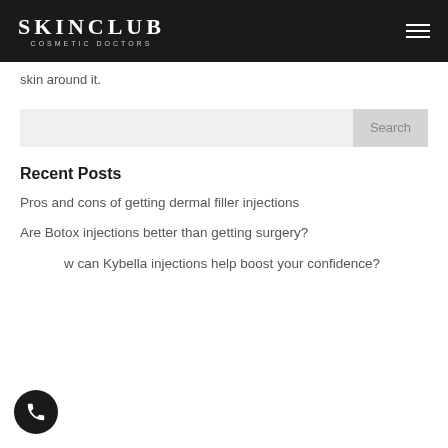SKINCLUB COSMETIC DOCTORS
skin around it.
Search
Recent Posts
Pros and cons of getting dermal filler injections
Are Botox injections better than getting surgery?
How can Kybella injections help boost your confidence?